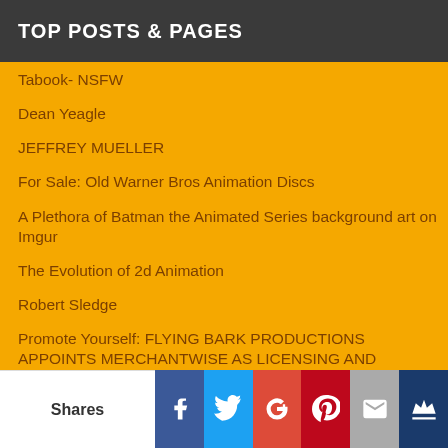TOP POSTS & PAGES
Tabook- NSFW
Dean Yeagle
JEFFREY MUELLER
For Sale: Old Warner Bros Animation Discs
A Plethora of Batman the Animated Series background art on Imgur
The Evolution of 2d Animation
Robert Sledge
Promote Yourself: FLYING BARK PRODUCTIONS APPOINTS MERCHANTWISE AS LICENSING AND MERCHANDISING AGENT FOR BLINKY BILL BRAND
"Toonstruck" trailer from 1996
Caue Zunchini